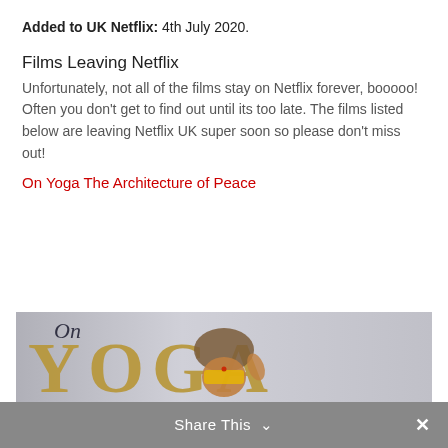Added to UK Netflix: 4th July 2020.
Films Leaving Netflix
Unfortunately, not all of the films stay on Netflix forever, booooo! Often you don't get to find out until its too late. The films listed below are leaving Netflix UK super soon so please don't miss out!
On Yoga The Architecture of Peace
[Figure (photo): Movie poster for 'On Yoga The Architecture of Peace' showing large gold text 'YOGA' with italic 'On' above it, and a person with elaborate turban-style hair and yellow face paint raising their hand, against a light grey background.]
Share This ∨  ✕